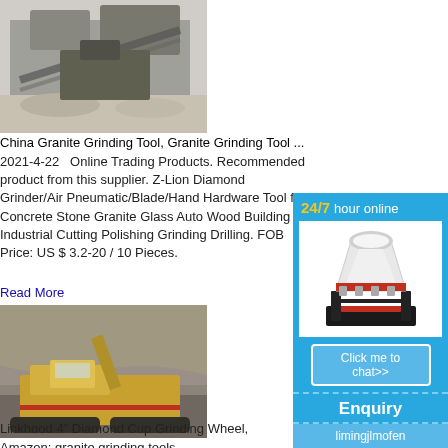[Figure (photo): Aerial view of a granite crushing/grinding operation with machinery and stone piles]
China Granite Grinding Tool, Granite Grinding Tool ...
2021-4-22   Online Trading Products. Recommended product from this supplier. Z-Lion Diamond Grinder/Air Pneumatic/Blade/Hand Hardware Tool for Concrete Stone Granite Glass Auto Wood Building Industrial Cutting Polishing Grinding Drilling. FOB Price: US $ 3.2-20 / 10 Pieces.
Read More
[Figure (photo): Mining/quarry scene with a large yellow excavator and crushed stone pile]
Amazon: granite grinding tools
Linkhood 4" Diamond Cup Grinding Wheel,
[Figure (infographic): Sidebar advertisement: 24/7 hour online with cone crusher image, Click me to chat>> button, Enquiry section, limingjlmofen branding on blue background]